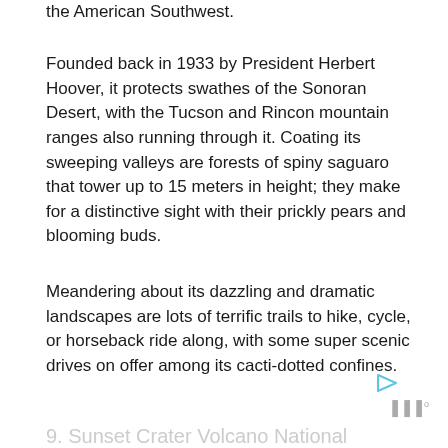the American Southwest.
Founded back in 1933 by President Herbert Hoover, it protects swathes of the Sonoran Desert, with the Tucson and Rincon mountain ranges also running through it. Coating its sweeping valleys are forests of spiny saguaro that tower up to 15 meters in height; they make for a distinctive sight with their prickly pears and blooming buds.
Meandering about its dazzling and dramatic landscapes are lots of terrific trails to hike, cycle, or horseback ride along, with some super scenic drives on offer among its cacti-dotted confines.
9. Sunset Crater Volcano National